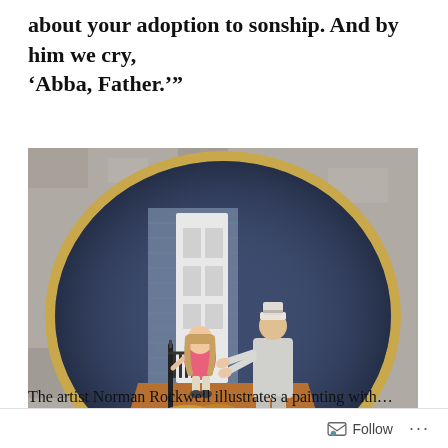about your adoption to sonship. And by him we cry, ‘Abba, Father.’”
[Figure (photo): A decorative collector's plate with a blue-grey background and gold rim, depicting a scene of a man in a white outfit with a hat reaching out toward a young girl in a pink dress standing at the top of porch steps near a white door. The plate sits on a grey stone or granite surface.]
The artist Norman Rockwell illustrates a painting with…